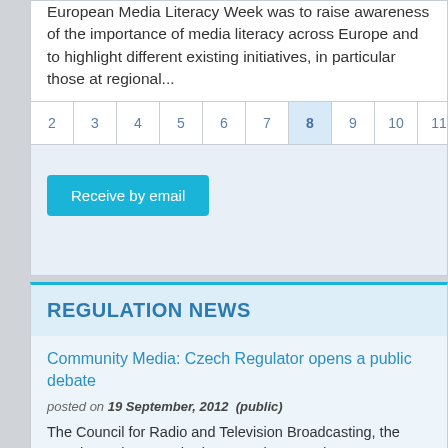European Media Literacy Week was to raise awareness of the importance of media literacy across Europe and to highlight different existing initiatives, in particular those at regional...
2 3 4 5 6 7 8 9 10 11 12 ...
Receive by email
REGULATION NEWS
Community Media: Czech Regulator opens a public debate
posted on 19 September, 2012  (public)
The Council for Radio and Television Broadcasting, the Czech regulatory authority, recently opened a